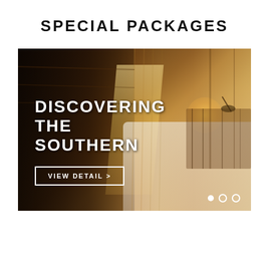SPECIAL PACKAGES
[Figure (photo): Hotel room promotional banner showing a split view of a dark wood-paneled heritage room on the left and a warm-lit modern bedroom with white pillows on the right. Text overlay reads 'DISCOVERING THE SOUTHERN' with a 'VIEW DETAIL >' button and three pagination dots at the bottom right.]